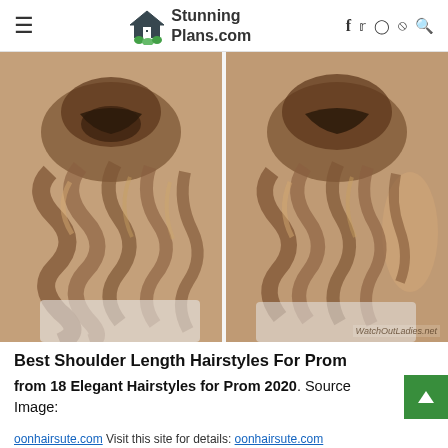StunningPlans.com
[Figure (photo): Two side-by-side photos showing the back of a woman's head with a half-up, half-down hairstyle with curls and a twisted/braided crown section. The left photo and right photo show similar angles of the same elegant prom hairstyle on long brown hair.]
WatchOutLadies.net
Best Shoulder Length Hairstyles For Prom from 18 Elegant Hairstyles for Prom 2020. Source Image:
oonhairsute.com. Visit this site for details: oonhairsute.com